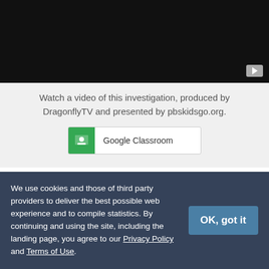[Figure (screenshot): Black video thumbnail with a play button in the bottom-right corner]
Watch a video of this investigation, produced by DragonflyTV and presented by pbskidsgo.org.
[Figure (other): Google Classroom button with green icon and text label]
The girls decided to develop an experiment to answer their question. Each of them attempted to walk across a low tightrope using poles of three different lengths, and they counted the number of times they wobbled or fell with each
We use cookies and those of third party providers to deliver the best possible web experience and to compile statistics. By continuing and using the site, including the landing page, you agree to our Privacy Policy and Terms of Use.